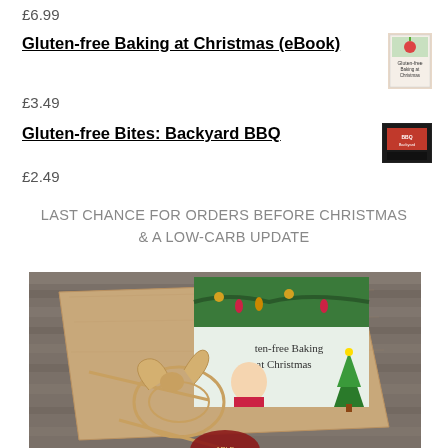£6.99
Gluten-free Baking at Christmas (eBook)
£3.49
Gluten-free Bites: Backyard BBQ
£2.49
LAST CHANCE FOR ORDERS BEFORE CHRISTMAS & A LOW-CARB UPDATE
[Figure (photo): A wrapped gift package made of brown kraft paper tied with natural twine, with a book cover visible showing 'Gluten-free Baking at Christmas' with Christmas decorations illustration]